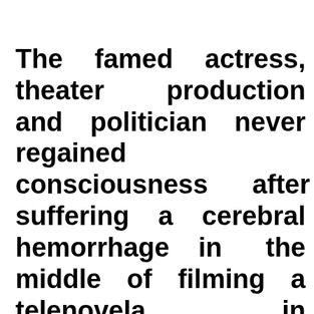The famed actress, theater production and politician never regained consciousness after suffering a cerebral hemorrhage in the middle of filming a telenovela in November.